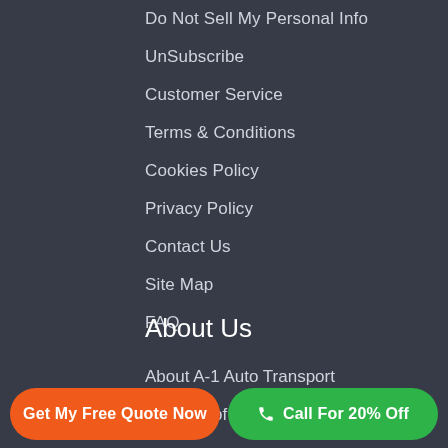Do Not Sell My Personal Info
UnSubscribe
Customer Service
Terms & Conditions
Cookies Policy
Privacy Policy
Contact Us
Site Map
FAQ
About Us
About A-1 Auto Transport
Purpose of This Website
Get My Free Quote Now
Call For 20% Off